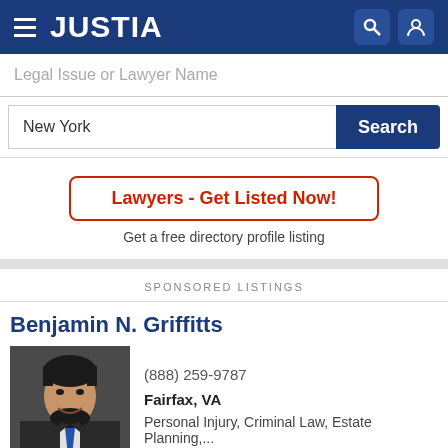JUSTIA
Legal Issue or Lawyer Name
New York
Search
Lawyers - Get Listed Now!
Get a free directory profile listing
SPONSORED LISTINGS
Benjamin N. Griffitts
[Figure (photo): Headshot of Benjamin N. Griffitts, a male attorney with dark hair and beard, wearing a suit and blue tie]
(888) 259-9787
Fairfax, VA
Personal Injury, Criminal Law, Estate Planning,...